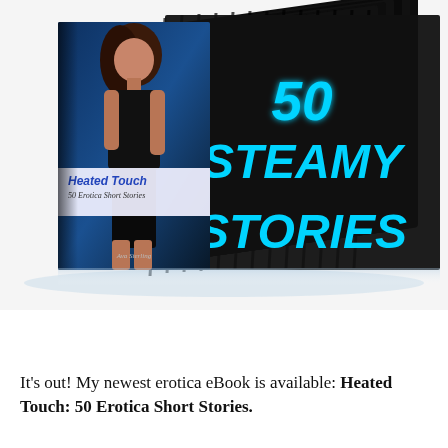[Figure (illustration): 3D rendered box set of books titled 'Heated Touch: 50 Erotica Short Stories' by Ava Sterling. The front cover shows a woman in black lingerie against a dark blue background. The spine/side of the stacked books shows '50 STEAMY STORIES' in large cyan italic text on a black background.]
It's out! My newest erotica eBook is available: Heated Touch: 50 Erotica Short Stories.